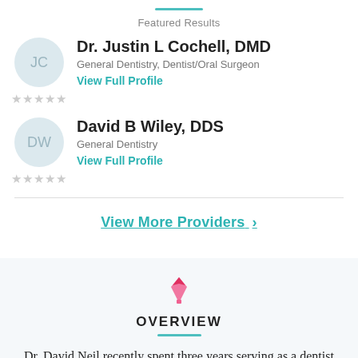Featured Results
Dr. Justin L Cochell, DMD
General Dentistry, Dentist/Oral Surgeon
View Full Profile
David B Wiley, DDS
General Dentistry
View Full Profile
View More Providers >
OVERVIEW
Dr. David Neil recently spent three years serving as a dentist in the US Navy, mostly on a ship off the coast of Italy. He did this after earning a Bachelor degree